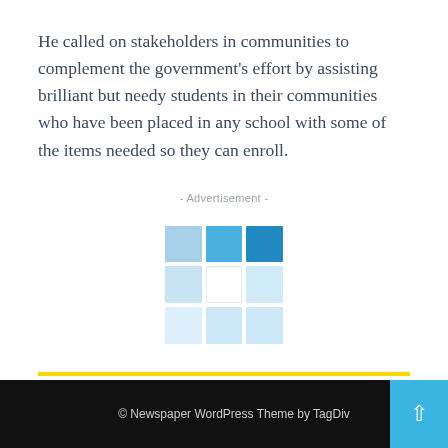He called on stakeholders in communities to complement the government's effort by assisting brilliant but needy students in their communities who have been placed in any school with some of the items needed so they can enroll.
- Advertisement -
[Figure (logo): A 3x3 grid logo with blue squares in the top row (light blue, medium blue, dark blue), fading lighter in the lower rows with a white center square.]
© Newspaper WordPress Theme by TagDiv